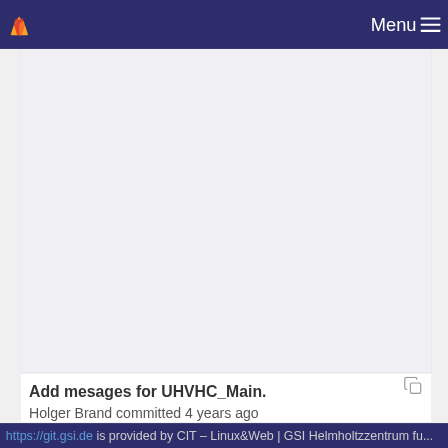Menu
[Figure (screenshot): GitLab repository page showing a blank/loading content area in the main panel]
Add mesages for UHVHC_Main.
Holger Brand committed 4 years ago
Sunscribe to UHCHV_Activate
Holger Brand committed 4 years ago
https://git.gsi.de is provided by CIT – Linux&Web | GSI Helmholtzzentrum fu...